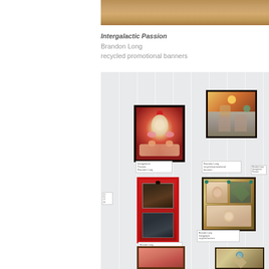[Figure (photo): Partial view of a wooden ceiling or beam, warm brown tones, cropped at top of page]
Intergalactic Passion
Brandon Long
recycled promotional banners
[Figure (photo): Gallery wall showing multiple framed artworks: decorative mixed-media shadow boxes with imagery including floral designs, figures, and assemblage elements displayed on a white paneled wall. Artworks include pieces with red backgrounds, dark frames, and ornate collage elements.]